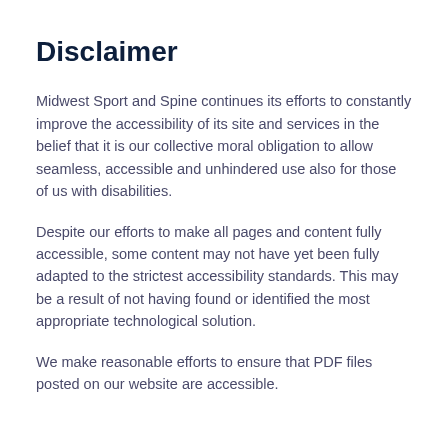Disclaimer
Midwest Sport and Spine continues its efforts to constantly improve the accessibility of its site and services in the belief that it is our collective moral obligation to allow seamless, accessible and unhindered use also for those of us with disabilities.
Despite our efforts to make all pages and content fully accessible, some content may not have yet been fully adapted to the strictest accessibility standards. This may be a result of not having found or identified the most appropriate technological solution.
We make reasonable efforts to ensure that PDF files posted on our website are accessible.